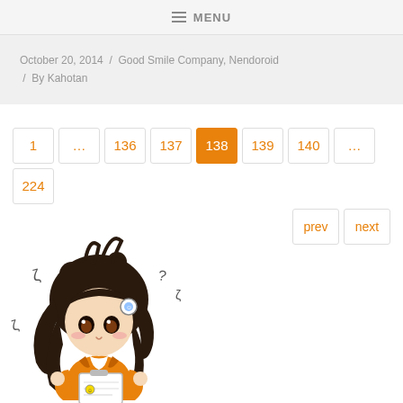MENU
October 20, 2014 / Good Smile Company, Nendoroid / By Kahotan
1 … 136 137 138 139 140 … 224 prev next
[Figure (illustration): Chibi anime girl character with dark hair in buns, wearing orange outfit, holding a clipboard, with question mark symbols around her head]